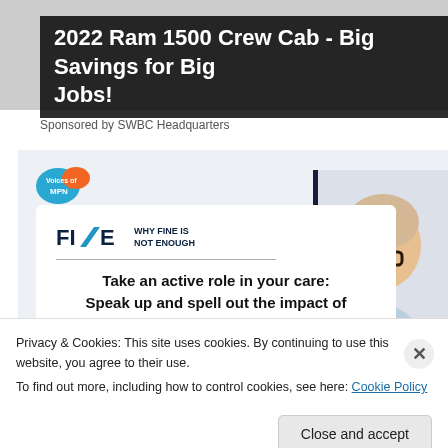[Figure (screenshot): Ad banner with dark background showing truck advertisement text]
2022 Ram 1500 Crew Cab - Big Savings for Big Jobs!
Sponsored by SWBC Headquarters
[Figure (screenshot): Voices of MPN logo and content card showing FINE – Why Fine Is Not Enough campaign with headline and older woman photo]
Take an active role in your care: Speak up and spell out the impact of
Privacy & Cookies: This site uses cookies. By continuing to use this website, you agree to their use.
To find out more, including how to control cookies, see here: Cookie Policy